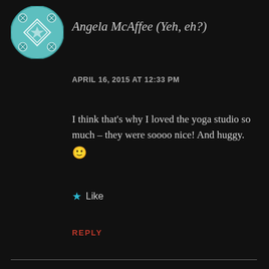Angela McAffee (Yeh, eh?)
APRIL 16, 2015 AT 12:33 PM
I think that's why I loved the yoga studio so much – they were soooo nice! And huggy. 🙂
Like
REPLY
Leave a Reply
Your email address will not be published. Required fields are marked *